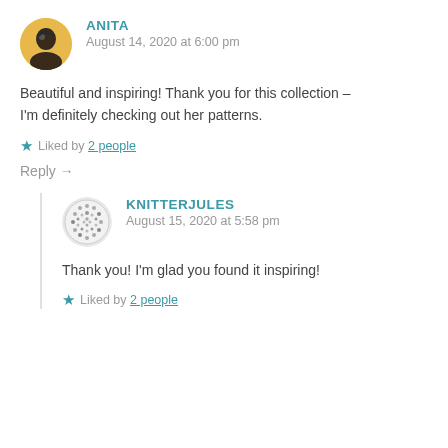ANITA
August 14, 2020 at 6:00 pm
Beautiful and inspiring! Thank you for this collection – I'm definitely checking out her patterns.
★ Liked by 2 people
Reply →
KNITTERJULES
August 15, 2020 at 5:58 pm
Thank you! I'm glad you found it inspiring!
★ Liked by 2 people